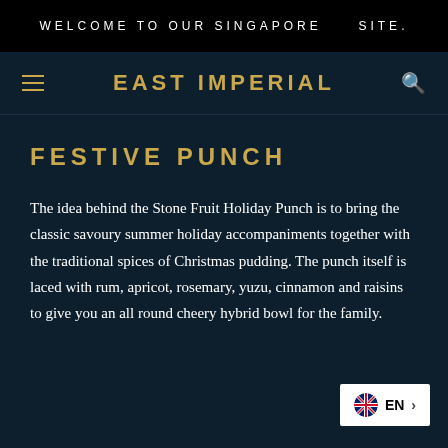WELCOME TO OUR SINGAPORE SITE.
EAST IMPERIAL
FESTIVE PUNCH
The idea behind the Stone Fruit Holiday Punch is to bring the classic savoury summer holiday accompaniments together with the traditional spices of Christmas pudding. The punch itself is laced with rum, apricot, rosemary, yuzu, cinnamon and raisins to give you an all round cheery hybrid bowl for the family.